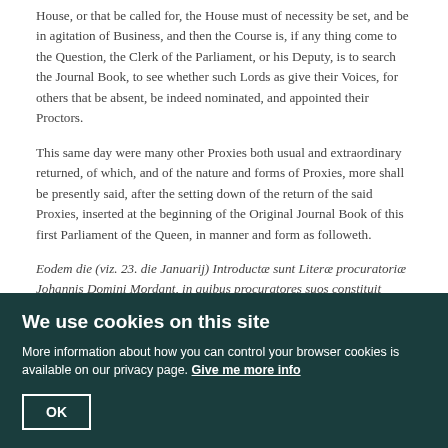House, or that be called for, the House must of necessity be set, and be in agitation of Business, and then the Course is, if any thing come to the Question, the Clerk of the Parliament, or his Deputy, is to search the Journal Book, to see whether such Lords as give their Voices, for others that be absent, be indeed nominated, and appointed their Proctors.
This same day were many other Proxies both usual and extraordinary returned, of which, and of the nature and forms of Proxies, more shall be presently said, after the setting down of the return of the said Proxies, inserted at the beginning of the Original Journal Book of this first Parliament of the Queen, in manner and form as followeth.
Eodem die (viz. 23. die Januarij) Introductæ sunt Literæ procuratoriæ Johannis Domini Mordant, in quibus procuratores suos constituit Henricum Comitem Arundel, et Franciscum Comitem Bedford.
Vacat. Eodem die introductæ sunt Literæ procuratoriæ Thomæ Tresham prioris Sti. Johannis Jerusalem in Anglia, qui procuratorem suum constituit Nicholaum Archiepiscop' Eboracen.
Eodem die introductæ sunt Literæ procuratoriæ Willielmi Domini Paget, qui procuratores suos constituit Henricum Comitem Arundel & Franciscum...
We use cookies on this site
More information about how you can control your browser cookies is available on our privacy page. Give me more info
OK